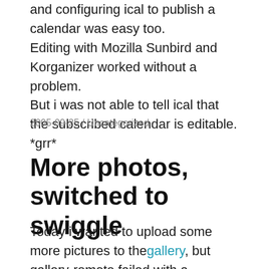and configuring ical to publish a calendar was easy too.
Editing with Mozilla Sunbird and Korganizer worked without a problem.
But i was not able to tell ical that the subscribed calendar is editable. *grr*
2005-09-25 / Uncategorized
More photos, switched to swiggle
Today i wanted to upload some more pictures to the gallery, but gallery-remote failed with a mysterious error. Updating to gallery2 was not